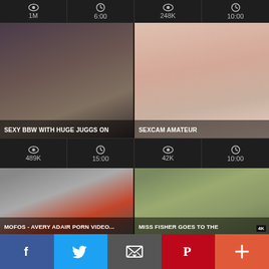[Figure (screenshot): Video thumbnail stats row: 1M views, 6:00 duration, 248K views, 10:00 duration]
[Figure (photo): Video thumbnail: SEXY BBW WITH HUGE JUGGS ON]
[Figure (photo): Video thumbnail: SEXCAM AMATEUR]
[Figure (screenshot): Video stats row: 489K views, 15:00 duration, 42K views, 10:00 duration]
[Figure (photo): Video thumbnail: MOFOS - AVERY ADAIR PORN VIDEO...]
[Figure (photo): Video thumbnail: MISS FISHER GOES TO THE]
[Figure (screenshot): Social share bar with Facebook, Twitter, Email, Pinterest, and More buttons]